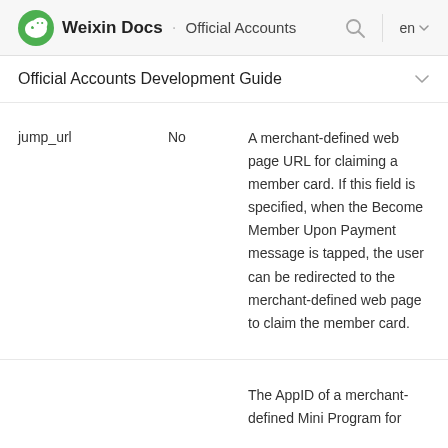Weixin Docs · Official Accounts
Official Accounts Development Guide
| Field | Required | Description |
| --- | --- | --- |
| jump_url | No | A merchant-defined web page URL for claiming a member card. If this field is specified, when the Become Member Upon Payment message is tapped, the user can be redirected to the merchant-defined web page to claim the member card. |
|  |  | The AppID of a merchant-defined Mini Program for |